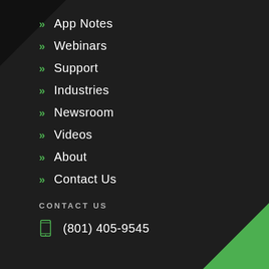App Notes
Webinars
Support
Industries
Newsroom
Videos
About
Contact Us
CONTACT US
(801) 405-9545